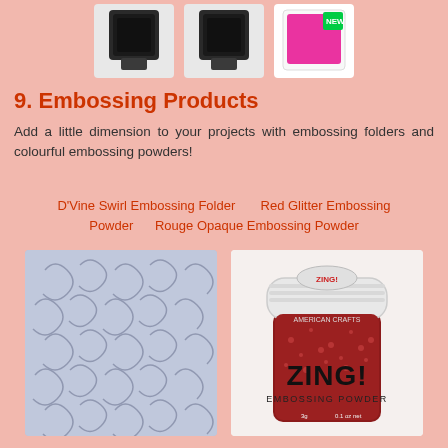[Figure (photo): Three product images at the top: two black stamp pads and one pink/magenta ink pad with a 'NEW' banner]
9. Embossing Products
Add a little dimension to your projects with embossing folders and colourful embossing powders!
D'Vine Swirl Embossing Folder      Red Glitter Embossing Powder      Rouge Opaque Embossing Powder
[Figure (photo): Blue/lavender embossing folder with swirl pattern]
[Figure (photo): ZING! Embossing Powder jar by American Crafts, red glitter, with white lid]